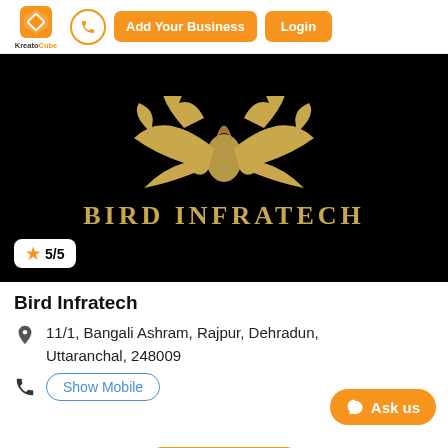KreatoCube | Add Your Business | Login
[Figure (logo): Bird Infratech company logo — golden ornamental bird/feather design on black background with text BIRD INFRATECH]
★ 5/5
Bird Infratech
11/1, Bangali Ashram, Rajpur, Dehradun, Uttaranchal, 248009
Show Mobile
Ask us
Get Quote